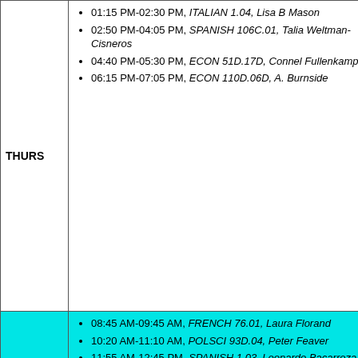| Day | Schedule |
| --- | --- |
| THURS | 01:15 PM-02:30 PM, ITALIAN 1.04, Lisa B Mason
02:50 PM-04:05 PM, SPANISH 106C.01, Talia Weltman-Cisneros
04:40 PM-05:30 PM, ECON 51D.17D, Connel Fullenkamp
06:15 PM-07:05 PM, ECON 110D.06D, A. Burnside |
| FRI | 08:45 AM-09:45 AM, FRENCH 76.01, Laura Florand
10:20 AM-11:10 AM, POLSCI 93D.04, Peter Feaver
11:55 AM-12:45 PM, SPANISH 1.03, Leonardo Bacarreza
01:15 PM-02:05 PM, ITALIAN 1.04, Lisa B Mason
03:05 PM-04:05 PM, ITALIAN 63.05, Corrado Corradini
04:40 PM-05:30 PM, SPANISH 76.11, Carlos R Molina Vital |
| SAT |  |